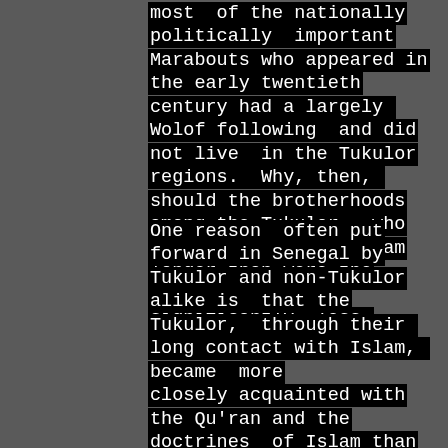most of the nationally politically important Marabouts who appeared in the early twentieth century had a largely Wolof following and did not live in the Tukulor regions. Why, then, should the brotherhoods among the Tukulor, who were exposed to Islam longer than were the Wolof, be of significantly less political importance ?
One reason often put forward in Senegal by Tukulor and non-Tukulor alike is that the Tukulor, through their long contact with Islam, became more closely acquainted with the Qu'ran and the doctrines of Islam than did the Wolof and, being more educated in the religion, had less need for the Marabouts to act as intermediaries between them and Allah. Furthermore, with a better knowledge of Islam, they were less likely to glorify the powers of their Mara- bouts. Since the intellectual gap between the Marabouts and their disciples was